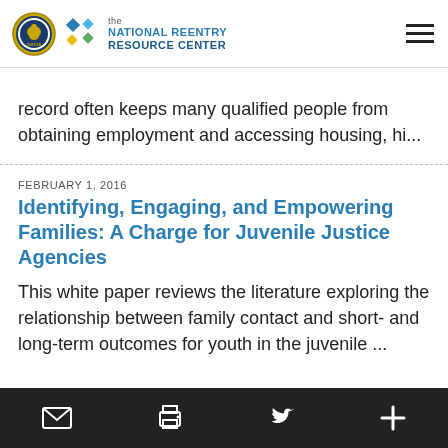the NATIONAL REENTRY RESOURCE CENTER
record often keeps many qualified people from obtaining employment and accessing housing, hi...
FEBRUARY 1, 2016
Identifying, Engaging, and Empowering Families: A Charge for Juvenile Justice Agencies
This white paper reviews the literature exploring the relationship between family contact and short- and long-term outcomes for youth in the juvenile ...
email | print | twitter | plus